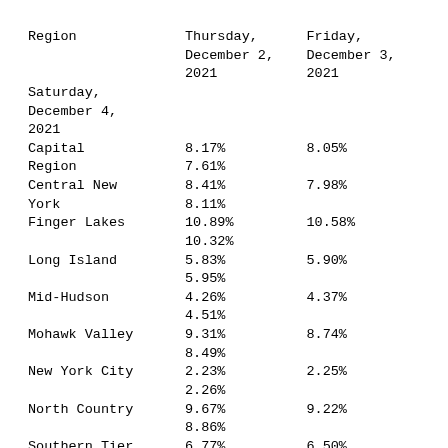| Region | Thursday,
December 2,
2021 | Friday,
December 3,
2021 |
| --- | --- | --- |
| Saturday,
December 4,
2021 |  |  |
| Capital
Region | 8.17%
7.61% | 8.05% |
| Central New
York | 8.41%
8.11% | 7.98% |
| Finger Lakes | 10.89%
10.32% | 10.58% |
| Long Island | 5.83%
5.95% | 5.90% |
| Mid-Hudson | 4.26%
4.51% | 4.37% |
| Mohawk Valley | 9.31%
8.49% | 8.74% |
| New York City | 2.23%
2.26% | 2.25% |
| North Country | 9.67%
8.86% | 9.22% |
| Southern Tier | 6.77%
6.03% | 6.50% |
| Western New
York | 11.32%
11.42% | 11.15% |